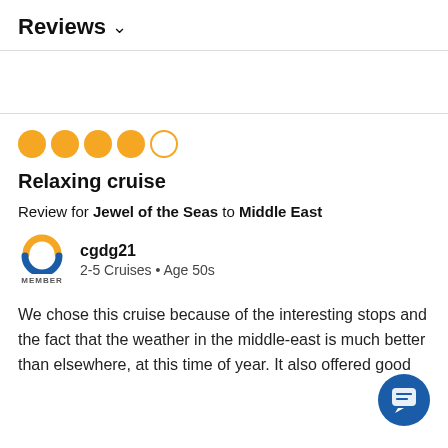Reviews ∨
[Figure (other): 4 out of 5 orange circle rating stars]
Relaxing cruise
Review for Jewel of the Seas to Middle East
cgdg21
2-5 Cruises • Age 50s
We chose this cruise because of the interesting stops and the fact that the weather in the middle-east is much better than elsewhere, at this time of year. It also offered good